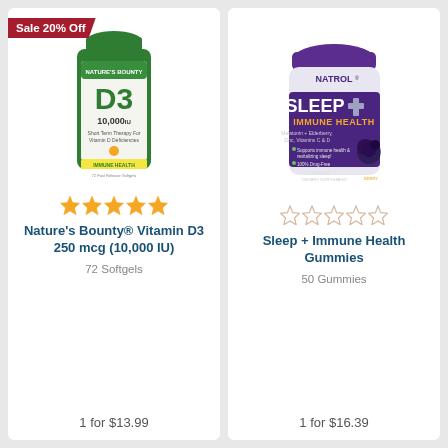[Figure (photo): Nature's Bounty Vitamin D3 10,000 IU 72 Softgels green bottle with Sale 20% Off red badge]
[Figure (photo): Natrol Sleep + Immune Health Gummies 50 Gummies purple jar with berry imagery]
Sale 20% Off
★★★★★
Nature's Bounty® Vitamin D3 250 mcg (10,000 IU)
72 Softgels
1 for $13.99
☆☆☆☆☆
Sleep + Immune Health Gummies
50 Gummies
1 for $16.39